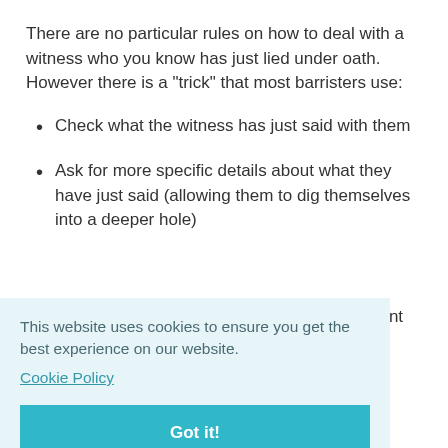There are no particular rules on how to deal with a witness who you know has just lied under oath. However there is a "trick" that most barristers use:
Check what the witness has just said with them
Ask for more specific details about what they have just said (allowing them to dig themselves into a deeper hole)
nent
ct
t be
you're point has been made to the court)
[Figure (other): Cookie consent banner overlay with text 'This website uses cookies to ensure you get the best experience on our website.' and a 'Cookie Policy' link, plus a teal 'Got it!' button]